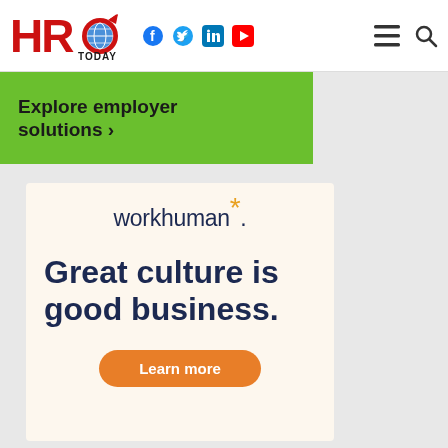HRO Today — navigation header with logo, social icons (Facebook, Twitter, LinkedIn, YouTube), hamburger menu and search
Explore employer solutions ›
[Figure (logo): Workhuman logo with orange asterisk]
Great culture is good business.
Learn more